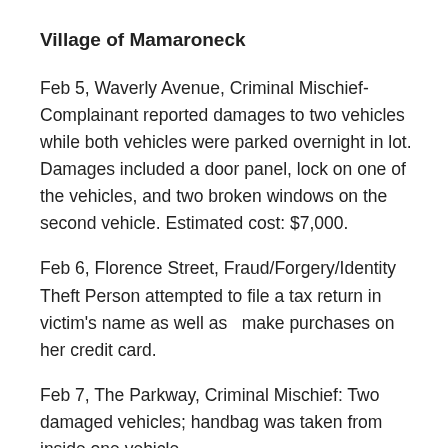Village of Mamaroneck
Feb 5, Waverly Avenue, Criminal Mischief- Complainant reported damages to two vehicles while both vehicles were parked overnight in lot. Damages included a door panel, lock on one of the vehicles, and two broken windows on the second vehicle. Estimated cost: $7,000.
Feb 6, Florence Street, Fraud/Forgery/Identity Theft Person attempted to file a tax return in victim's name as well as  make purchases on her credit card.
Feb 7, The Parkway, Criminal Mischief: Two damaged vehicles; handbag was taken from inside one vehicle.
Feb 7, Sound View Drive, Larceny. A GPS Unit and $100